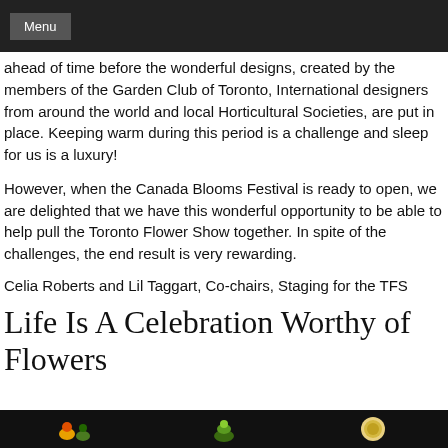Menu
ahead of time before the wonderful designs, created by the members of the Garden Club of Toronto, International designers from around the world and local Horticultural Societies, are put in place. Keeping warm during this period is a challenge and sleep for us is a luxury!
However, when the Canada Blooms Festival is ready to open, we are delighted that we have this wonderful opportunity to be able to help pull the Toronto Flower Show together. In spite of the challenges, the end result is very rewarding.
Celia Roberts and Lil Taggart, Co-chairs, Staging for the TFS
Life Is A Celebration Worthy of Flowers
[Figure (photo): Dark banner with small food/flower icons at the bottom of the page]